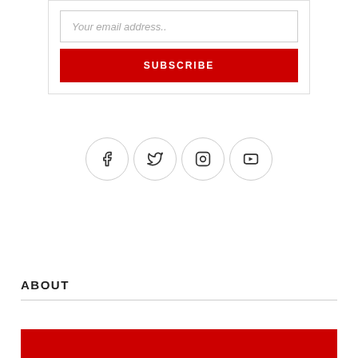[Figure (screenshot): Email subscription form with text input placeholder 'Your email address..' and a red SUBSCRIBE button]
[Figure (infographic): Four social media icon circles: Facebook, Twitter, Instagram, YouTube]
ABOUT
[Figure (photo): Partial photo visible at bottom, red background area]